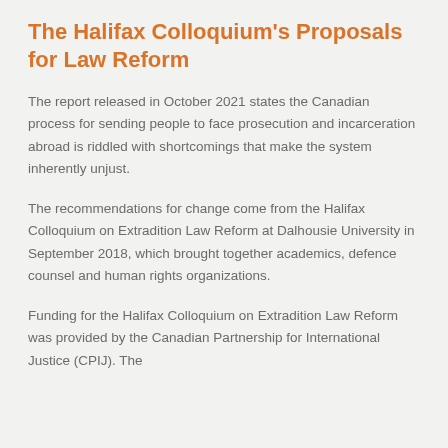The Halifax Colloquium's Proposals for Law Reform
The report released in October 2021 states the Canadian process for sending people to face prosecution and incarceration abroad is riddled with shortcomings that make the system inherently unjust.
The recommendations for change come from the Halifax Colloquium on Extradition Law Reform at Dalhousie University in September 2018, which brought together academics, defence counsel and human rights organizations.
Funding for the Halifax Colloquium on Extradition Law Reform was provided by the Canadian Partnership for International Justice (CPIJ). The